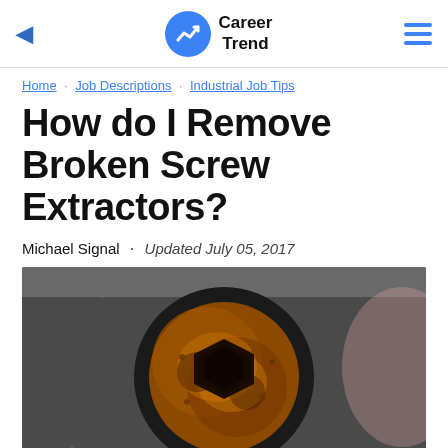Career Trend
Home · Job Descriptions · Industrial Job Tips
How do I Remove Broken Screw Extractors?
Michael Signal · Updated July 05, 2017
[Figure (photo): Close-up photo of a rusted bolt or screw extractor head with a hexagonal socket, viewed from above, showing heavy rust and oxidation on a black metal surface.]